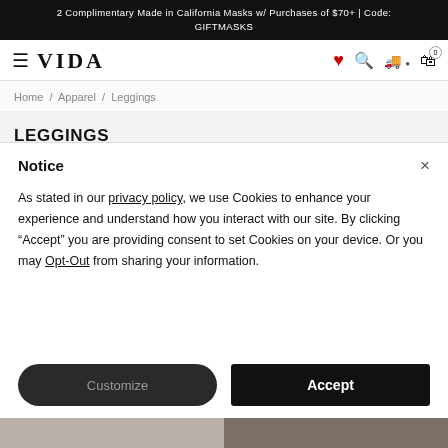2 Complimentary Made in California Masks w/ Purchases of $70+ | Code: GIFTMASKS
[Figure (screenshot): VIDA website navigation bar with hamburger menu, VIDA logo, heart/wishlist icon, search icon, store locator icon, and shopping bag icon with badge showing 0]
Home / Apparel / Leggings
LEGGINGS
$75
Notice
As stated in our privacy policy, we use Cookies to enhance your experience and understand how you interact with our site. By clicking "Accept" you are providing consent to set Cookies on your device. Or you may Opt-Out from sharing your information.